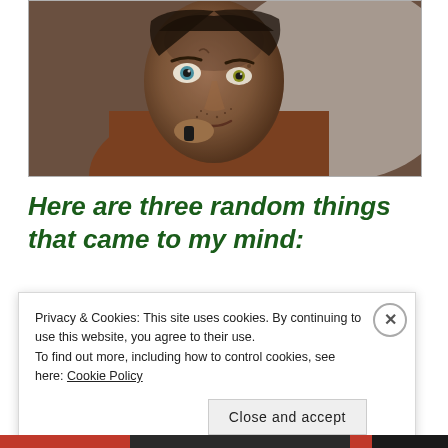[Figure (photo): Close-up photo of a rugged, dirty-faced man with intense eyes looking toward camera, wearing a brown jacket, in a gritty dramatic scene.]
Here are three random things that came to my mind:
Privacy & Cookies: This site uses cookies. By continuing to use this website, you agree to their use. To find out more, including how to control cookies, see here: Cookie Policy
Close and accept